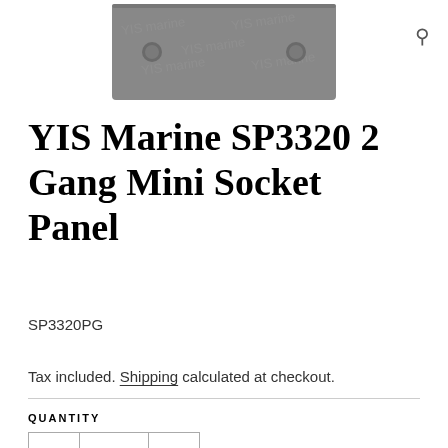[Figure (photo): Gray rectangular marine socket panel plate with two round hole cutouts and watermark text reading 'YIS marine' repeated across the surface]
YIS Marine SP3320 2 Gang Mini Socket Panel
SP3320PG
Tax included. Shipping calculated at checkout.
QUANTITY
- 1 +